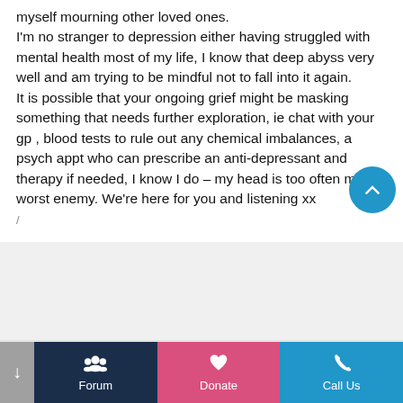myself mourning other loved ones.
I'm no stranger to depression either having struggled with mental health most of my life, I know that deep abyss very well and am trying to be mindful not to fall into it again.
It is possible that your ongoing grief might be masking something that needs further exploration, ie chat with your gp , blood tests to rule out any chemical imbalances, a psych appt who can prescribe an anti-depressant and therapy if needed, I know I do – my head is too often my worst enemy. We're here for you and listening xx
May 21, 2022 at 11:09 am
#20770
VMsunflower
Participant
Forum | Donate | Call Us